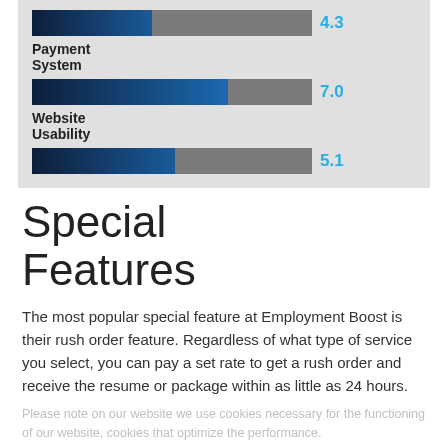[Figure (bar-chart): Ratings chart]
Special Features
The most popular special feature at Employment Boost is their rush order feature. Regardless of what type of service you select, you can pay a set rate to get a rush order and receive the resume or package within as little as 24 hours.
Please note on our website we use cookies necessary for the functioning of our website, cookies that optimize the performance.
Ok